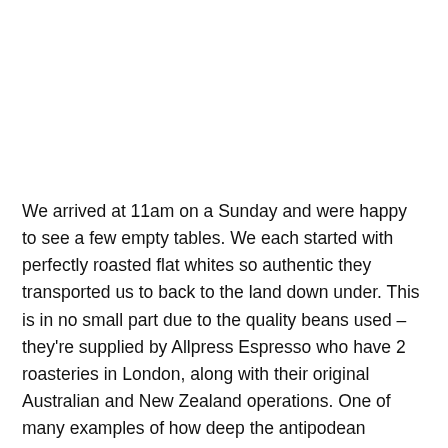We arrived at 11am on a Sunday and were happy to see a few empty tables. We each started with perfectly roasted flat whites so authentic they transported us to back to the land down under. This is in no small part due to the quality beans used – they're supplied by Allpress Espresso who have 2 roasteries in London, along with their original Australian and New Zealand operations. One of many examples of how deep the antipodean influences run through the menu at Granger & Co. On that point, the menu is chock full of fresh ingredients and interesting combinations – a reflection of the